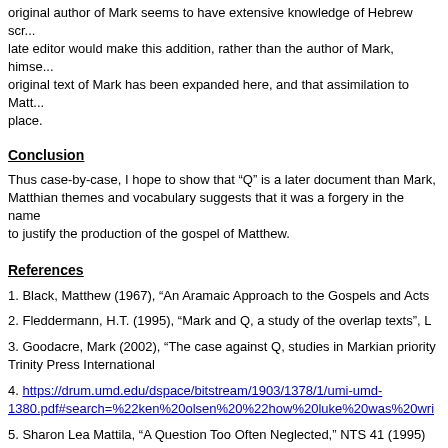original author of Mark seems to have extensive knowledge of Hebrew scr... late editor would make this addition, rather than the author of Mark, himse... original text of Mark has been expanded here, and that assimilation to Matt... place.
Conclusion
Thus case-by-case, I hope to show that “Q” is a later document than Mark, Matthian themes and vocabulary suggests that it was a forgery in the name to justify the production of the gospel of Matthew.
References
1. Black, Matthew (1967), “An Aramaic Approach to the Gospels and Acts
2. Fleddermann, H.T. (1995), “Mark and Q, a study of the overlap texts”, L
3. Goodacre, Mark (2002), “The case against Q, studies in Markian priority Trinity Press International
4. https://drum.umd.edu/dspace/bitstream/1903/1378/1/umi-umd-1380.pdf#search=%22ken%20olsen%20%22how%20luke%20was%20wri
5. Sharon Lea Mattila, “A Question Too Often Neglected,” NTS 41 (1995) 199-217, p. 206.
Back to synoptic main page